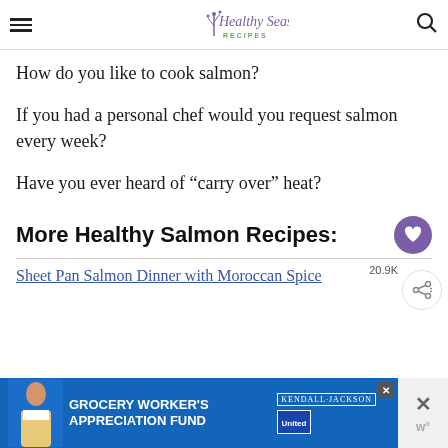Healthy Seasonal Recipes
How do you like to cook salmon?
If you had a personal chef would you request salmon every week?
Have you ever heard of “carry over” heat?
More Healthy Salmon Recipes:
20.9K
Sheet Pan Salmon Dinner with Moroccan Spice
[Figure (infographic): Blue advertisement banner for Grocery Worker's Appreciation Fund with Kendall-Jackson and United Way logos]